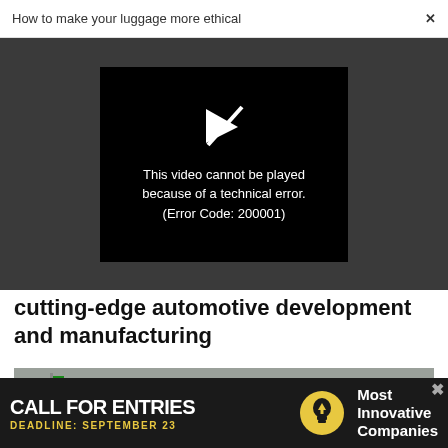How to make your luggage more ethical  ×
[Figure (screenshot): Video player showing error message on black background: play icon with diagonal line through it, text 'This video cannot be played because of a technical error. (Error Code: 200001)']
cutting-edge automotive development and manufacturing
[Figure (photo): Photo of a racetrack grandstand area, overcast sky, people visible on right side]
[Figure (infographic): Advertisement banner: 'CALL FOR ENTRIES DEADLINE: SEPTEMBER 23' with light bulb icon and 'Most Innovative Companies' text]